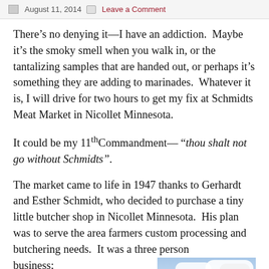August 11, 2014  Leave a Comment
There’s no denying it—I have an addiction.  Maybe it’s the smoky smell when you walk in, or the tantalizing samples that are handed out, or perhaps it’s something they are adding to marinades.  Whatever it is, I will drive for two hours to get my fix at Schmidts Meat Market in Nicollet Minnesota.
It could be my 11th Commandment— “thou shalt not go without Schmidts”.
The market came to life in 1947 thanks to Gerhardt and Esther Schmidt, who decided to purchase a tiny little butcher shop in Nicollet Minnesota.  His plan was to serve the area farmers custom processing and butchering needs.  It was a three person business; husband, wife and one
[Figure (photo): Exterior photo of Schmidts Meat Market building with blue sky and clouds in the background]